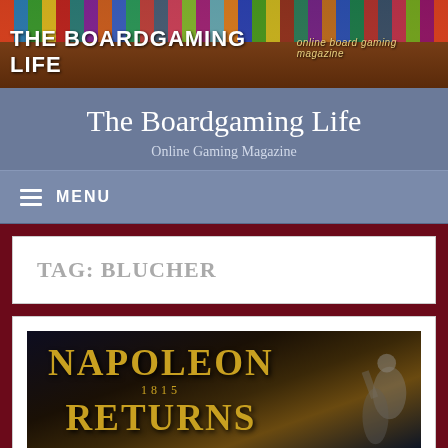[Figure (illustration): The Boardgaming Life website banner with colorful game box images strip at top, brown wood-toned background, white bold text 'THE BOARDGAMING LIFE' and italic yellow text 'online board gaming magazine']
The Boardgaming Life
Online Gaming Magazine
≡ MENU
TAG: BLUCHER
[Figure (photo): Napoleon 1815 Returns promotional image with golden decorative text on dark background, silhouette of Napoleon on horseback on the right side]